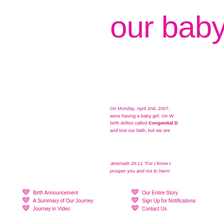our baby g
On Monday, April 2nd, 2007, were having a baby girl. On W birth defect called Congenital D and test our faith, but we are
Jeremiah 29:11 "For I know t prosper you and not to harm
Birth Announcement
A Summary of Our Journey
Journey in Video
Our Entire Story
Sign Up for Notifications
Contact Us